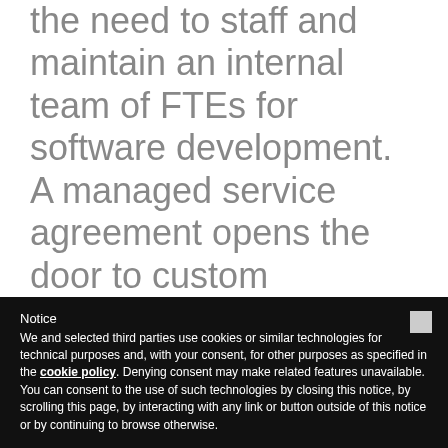skilled support to your team without the need to staff and maintain an internal team of FTEs for software development. A managed service agreement opens the door to custom additions to your system and can help extend the lifespan of an application.
Notice
We and selected third parties use cookies or similar technologies for technical purposes and, with your consent, for other purposes as specified in the cookie policy. Denying consent may make related features unavailable.
You can consent to the use of such technologies by closing this notice, by scrolling this page, by interacting with any link or button outside of this notice or by continuing to browse otherwise.